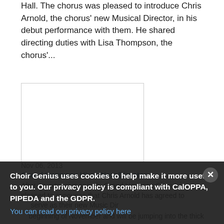Hall. The chorus was pleased to introduce Chris Arnold, the chorus' new Musical Director, in his debut performance with them. He shared directing duties with Lisa Thompson, the chorus'...
more
[Figure (photo): A white rectangular image box with thin border, appears to be a photo placeholder or image]
Nov 06, 2013
Grand Harmony Hires New Director
After an extensive search, Grand Harmony Chorus is pleased to announce that Chris Arnold has agreed to serve as their new Music Director. Chris started at the beginning of November and will be jumping into the thick
Choir Genius uses cookies to help make it more useful to you. Our privacy policy is compliant with CalOPPA, PIPEDA and the GDPR.
You can read our privacy policy here